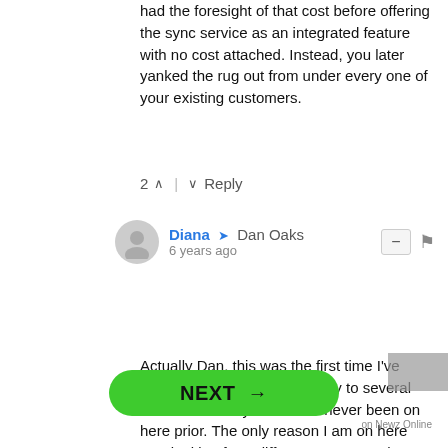had the foresight of that cost before offering the sync service as an integrated feature with no cost attached. Instead, you later yanked the rug out from under every one of your existing customers.
2 ^ | v Reply
Diana → Dan Oaks
6 years ago
Actually Dan, this was the first time I've posted on here. Yes I did reply to several comments today but I have never been on here prior. The only reason I am on here was looking for a different program other then yours. Customer reviews is the key to a successful program. I just wanted other people to know what they are buying. I'm a mom who cooks for a family and want a good program. You unfortunately are showing what kind of person you are and just for that people need to stay away. They can go back and see you are really the only one posting a lot. I have the right to post negative
NEXT →